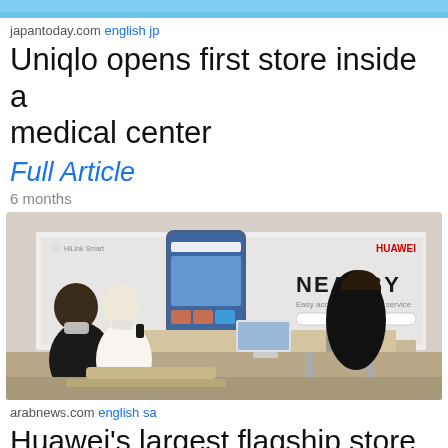[Figure (photo): Top blue banner strip]
japantoday.com  english  jp
Uniqlo opens first store inside a medical center
Full Article
6 months
[Figure (photo): Interior of a Huawei flagship store showing people using devices at a display counter. A large screen on the wall shows 'NEARBY' and an app interface. Customers in traditional Middle Eastern dress are visible.]
arabnews.com  english  sa
Huawei's largest flagship store & first